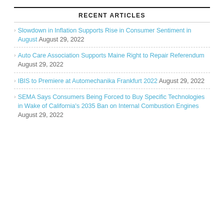RECENT ARTICLES
Slowdown in Inflation Supports Rise in Consumer Sentiment in August August 29, 2022
Auto Care Association Supports Maine Right to Repair Referendum August 29, 2022
IBIS to Premiere at Automechanika Frankfurt 2022 August 29, 2022
SEMA Says Consumers Being Forced to Buy Specific Technologies in Wake of California's 2035 Ban on Internal Combustion Engines August 29, 2022